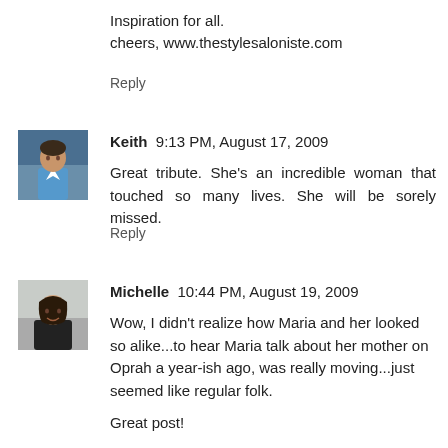Inspiration for all.
cheers, www.thestylesaloniste.com
Reply
Keith  9:13 PM, August 17, 2009
Great tribute. She's an incredible woman that touched so many lives. She will be sorely missed.
Reply
[Figure (photo): Avatar photo of Keith, a man in a blue shirt]
Michelle  10:44 PM, August 19, 2009
[Figure (photo): Avatar photo of Michelle, a woman with dark hair]
Wow, I didn't realize how Maria and her looked so alike...to hear Maria talk about her mother on Oprah a year-ish ago, was really moving...just seemed like regular folk.

Great post!

Best,
Michelle